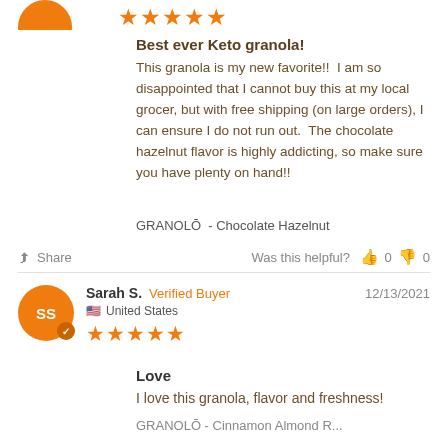[Figure (other): Partial orange circular avatar at top left, cropped at top edge]
★★★★★ (5 stars, orange)
Best ever Keto granola!
This granola is my new favorite!!  I am so disappointed that I cannot buy this at my local grocer, but with free shipping (on large orders), I can ensure I do not run out.  The chocolate hazelnut flavor is highly addicting, so make sure you have plenty on hand!!
GRANOLŌ  - Chocolate Hazelnut
Share    Was this helpful?  👍 0  👎 0
Sarah S.  Verified Buyer    12/13/2021
🇺🇸  United States
★★★★★ (5 stars, orange)
Love
I love this granola, flavor and freshness!
GRANOLŌ - Cinnamon Almond R...